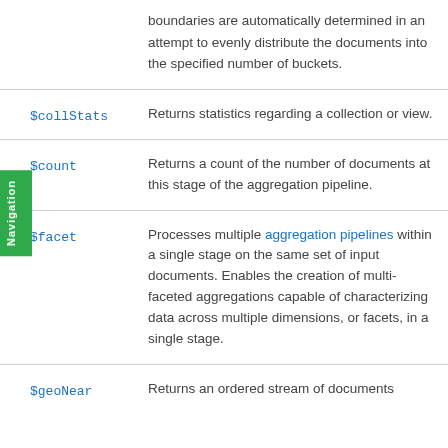boundaries are automatically determined in an attempt to evenly distribute the documents into the specified number of buckets.
$collStats — Returns statistics regarding a collection or view.
$count — Returns a count of the number of documents at this stage of the aggregation pipeline.
$facet — Processes multiple aggregation pipelines within a single stage on the same set of input documents. Enables the creation of multi-faceted aggregations capable of characterizing data across multiple dimensions, or facets, in a single stage.
$geoNear — Returns an ordered stream of documents...